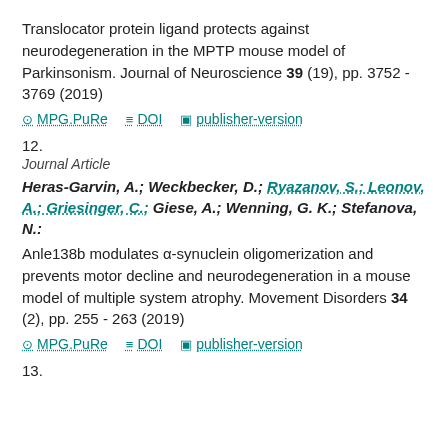Translocator protein ligand protects against neurodegeneration in the MPTP mouse model of Parkinsonism. Journal of Neuroscience 39 (19), pp. 3752 - 3769 (2019)
MPG.PuRe   DOI   publisher-version
12.
Journal Article
Heras-Garvin, A.; Weckbecker, D.; Ryazanov, S.; Leonov, A.; Griesinger, C.; Giese, A.; Wenning, G. K.; Stefanova, N.: Anle138b modulates α-synuclein oligomerization and prevents motor decline and neurodegeneration in a mouse model of multiple system atrophy. Movement Disorders 34 (2), pp. 255 - 263 (2019)
MPG.PuRe   DOI   publisher-version
13.